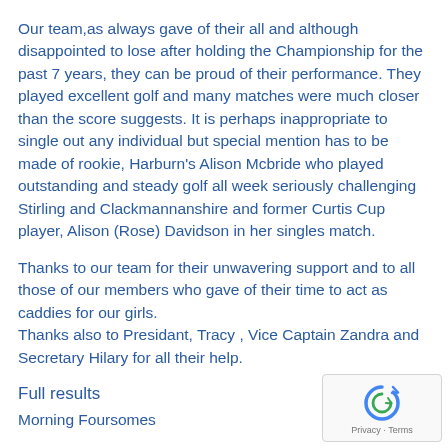Our team,as always gave of their all and although disappointed to lose after holding the Championship for the past 7 years, they can be proud of their performance. They played excellent golf and many matches were much closer than the score suggests. It is perhaps inappropriate to single out any individual but special mention has to be made of rookie, Harburn's Alison Mcbride who played outstanding and steady golf all week seriously challenging Stirling and Clackmannanshire and former Curtis Cup player, Alison (Rose) Davidson in her singles match.
Thanks to our team for their unwavering support and to all those of our members who gave of their time to act as caddies for our girls.
Thanks also to Presidant, Tracy , Vice Captain Zandra and Secretary Hilary for all their help.
Full results
Morning Foursomes